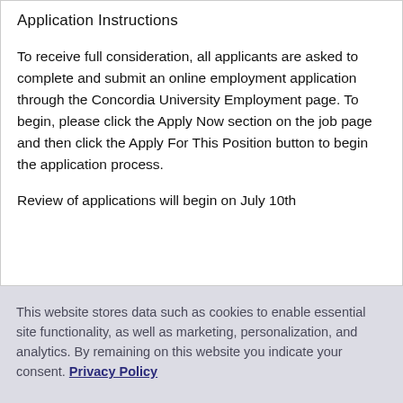Application Instructions
To receive full consideration, all applicants are asked to complete and submit an online employment application through the Concordia University Employment page. To begin, please click the Apply Now section on the job page and then click the Apply For This Position button to begin the application process.
Review of applications will begin on July 10th
This website stores data such as cookies to enable essential site functionality, as well as marketing, personalization, and analytics. By remaining on this website you indicate your consent. Privacy Policy